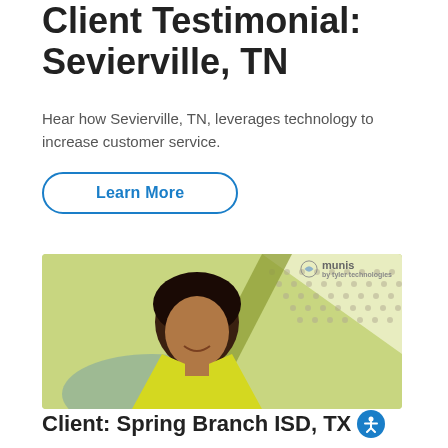Client Testimonial: Sevierville, TN
Hear how Sevierville, TN, leverages technology to increase customer service.
Learn More
[Figure (photo): Video thumbnail showing a smiling woman with dark hair wearing a yellow blazer, with a green and white branded background featuring the Munis logo in the upper right corner.]
Client: Spring Branch ISD, TX